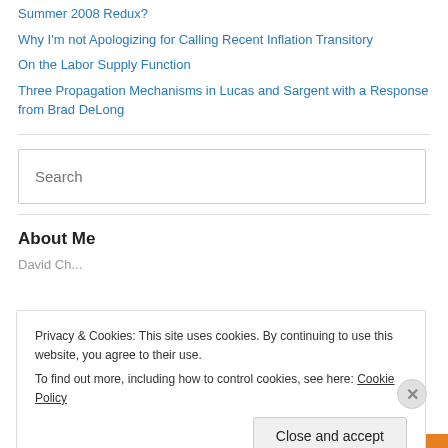Summer 2008 Redux?
Why I'm not Apologizing for Calling Recent Inflation Transitory
On the Labor Supply Function
Three Propagation Mechanisms in Lucas and Sargent with a Response from Brad DeLong
About Me
Privacy & Cookies: This site uses cookies. By continuing to use this website, you agree to their use.
To find out more, including how to control cookies, see here: Cookie Policy